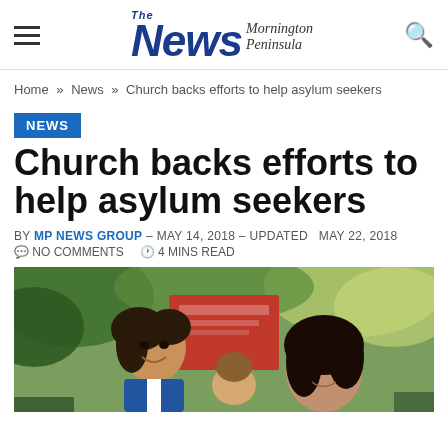The News Mornington Peninsula — navigation header with hamburger menu and search icon
Home » News » Church backs efforts to help asylum seekers
NEWS
Church backs efforts to help asylum seekers
BY MP NEWS GROUP – MAY 14, 2018 – UPDATED MAY 22, 2018
NO COMMENTS   4 MINS READ
[Figure (photo): Photo of two smiling girls outdoors holding a red sign/book, with green foliage in the background]